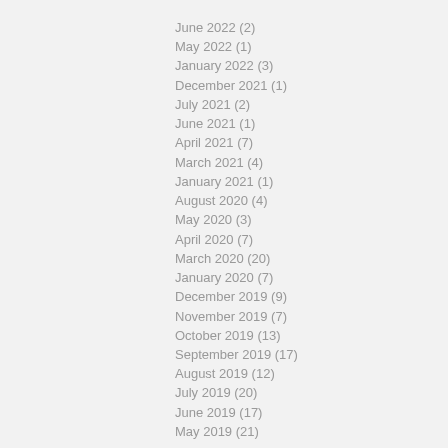June 2022 (2)
May 2022 (1)
January 2022 (3)
December 2021 (1)
July 2021 (2)
June 2021 (1)
April 2021 (7)
March 2021 (4)
January 2021 (1)
August 2020 (4)
May 2020 (3)
April 2020 (7)
March 2020 (20)
January 2020 (7)
December 2019 (9)
November 2019 (7)
October 2019 (13)
September 2019 (17)
August 2019 (12)
July 2019 (20)
June 2019 (17)
May 2019 (21)